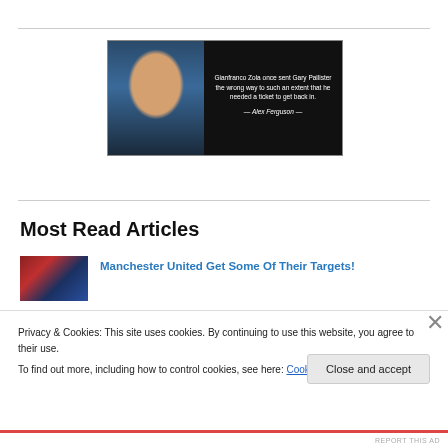[Figure (photo): Quote image with photo of Alex Ferguson on left and text on black background: 'Gianfranco Zola once sent Gary Pallister the wrong way to such an extent that he needed a ticket to get back in. — Alex Ferguson —']
Most Read Articles
[Figure (photo): Thumbnail image of Manchester United crowd/stadium in red tones]
Manchester United Get Some Of Their Targets!
Privacy & Cookies: This site uses cookies. By continuing to use this website, you agree to their use.
To find out more, including how to control cookies, see here: Cookie Policy
Close and accept